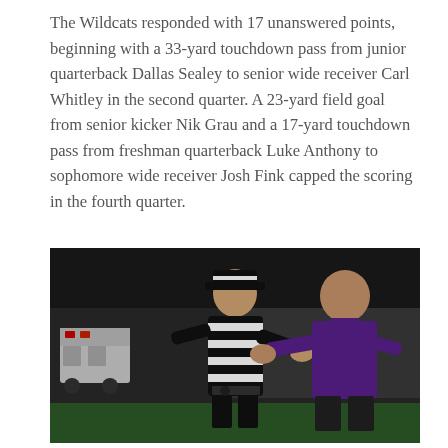The Wildcats responded with 17 unanswered points, beginning with a 33-yard touchdown pass from junior quarterback Dallas Sealey to senior wide receiver Carl Whitley in the second quarter. A 23-yard field goal from senior kicker Nik Grau and a 17-yard touchdown pass from freshman quarterback Luke Anthony to sophomore wide receiver Josh Fink capped the scoring in the fourth quarter.
[Figure (photo): A football referee in black and white stripes and cap gesturing while talking to a coach in a purple polo shirt on a dark football field at night, with an ambulance visible in the background.]